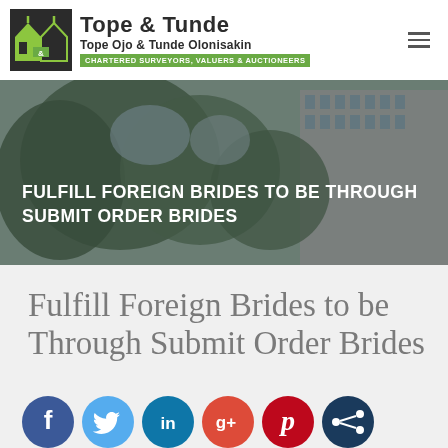Tope & Tunde — Tope Ojo & Tunde Olonisakin — Chartered Surveyors, Valuers & Auctioneers
[Figure (photo): Hero banner with background photo of trees and building, overlaid with semi-transparent dark filter and text FULFILL FOREIGN BRIDES TO BE THROUGH SUBMIT ORDER BRIDES]
Fulfill Foreign Brides to be Through Submit Order Brides
[Figure (infographic): Row of six social sharing icon circles: Facebook (blue), Twitter (light blue), LinkedIn (dark teal), Google+ (red-orange), Pinterest (dark red), Share/network (dark navy)]